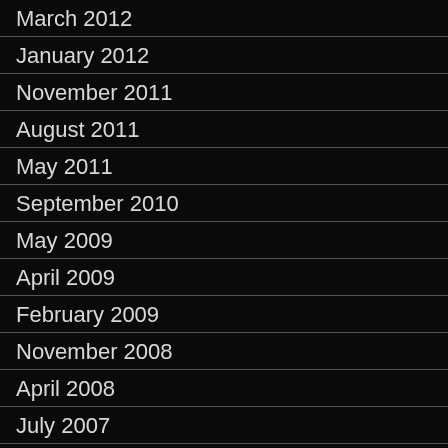March 2012
January 2012
November 2011
August 2011
May 2011
September 2010
May 2009
April 2009
February 2009
November 2008
April 2008
July 2007
April 2007